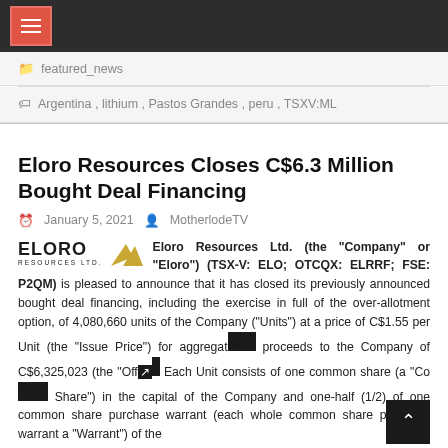featured_news
Argentina, lithium, Pastos Grandes, peru, TSXV:ML
Eloro Resources Closes C$6.3 Million Bought Deal Financing
January 5, 2021  MotherlodeTV
Eloro Resources Ltd. (the "Company" or "Eloro") (TSX-V: ELO; OTCQX: ELRRF; FSE: P2QM) is pleased to announce that it has closed its previously announced bought deal financing, including the exercise in full of the over-allotment option, of 4,080,660 units of the Company ("Units") at a price of C$1.55 per Unit (the "Issue Price") for aggregate gross proceeds to the Company of C$6,325,023 (the "Offering"). Each Unit consists of one common share (a "Common Share") in the capital of the Company and one-half (1/2) of one common share purchase warrant (each whole common share purchase warrant a "Warrant") of the